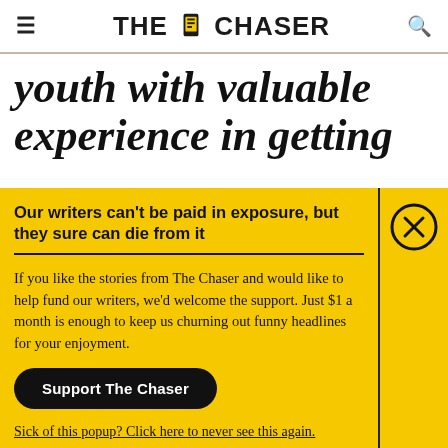THE CHASER
youth with valuable experience in getting
Our writers can't be paid in exposure, but they sure can die from it
If you like the stories from The Chaser and would like to help fund our writers, we'd welcome the support. Just $1 a month is enough to keep us churning out funny headlines for your enjoyment.
Support The Chaser
Sick of this popup? Click here to never see this again.